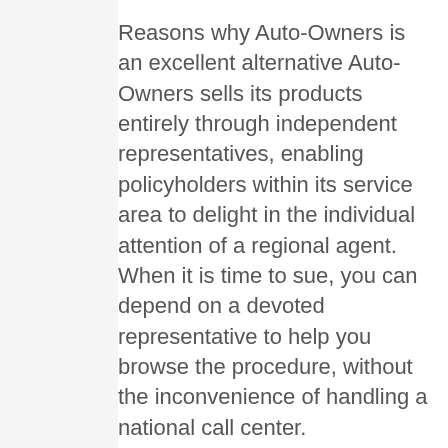Reasons why Auto-Owners is an excellent alternative Auto-Owners sells its products entirely through independent representatives, enabling policyholders within its service area to delight in the individual attention of a regional agent. When it is time to sue, you can depend on a devoted representative to help you browse the procedure, without the inconvenience of handling a national call center.
Auto-Owners Insurance is an unique insurer option for farmers. The insurer's standard farm insurance coverage policies assure your